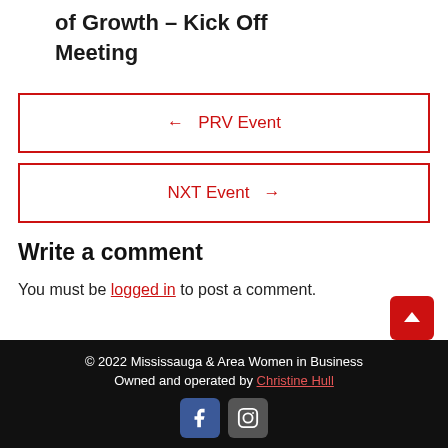of Growth – Kick Off Meeting
← PRV Event
NXT Event →
Write a comment
You must be logged in to post a comment.
© 2022 Mississauga & Area Women in Business
Owned and operated by Christine Hull